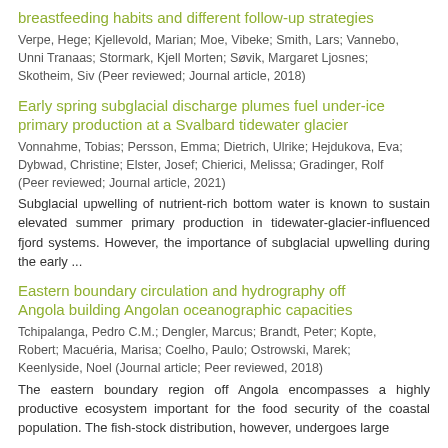breastfeeding habits and different follow-up strategies
Verpe, Hege; Kjellevold, Marian; Moe, Vibeke; Smith, Lars; Vannebo, Unni Tranaas; Stormark, Kjell Morten; Søvik, Margaret Ljosnes; Skotheim, Siv (Peer reviewed; Journal article, 2018)
Early spring subglacial discharge plumes fuel under-ice primary production at a Svalbard tidewater glacier
Vonnahme, Tobias; Persson, Emma; Dietrich, Ulrike; Hejdukova, Eva; Dybwad, Christine; Elster, Josef; Chierici, Melissa; Gradinger, Rolf (Peer reviewed; Journal article, 2021)
Subglacial upwelling of nutrient-rich bottom water is known to sustain elevated summer primary production in tidewater-glacier-influenced fjord systems. However, the importance of subglacial upwelling during the early ...
Eastern boundary circulation and hydrography off Angola building Angolan oceanographic capacities
Tchipalanga, Pedro C.M.; Dengler, Marcus; Brandt, Peter; Kopte, Robert; Macuéria, Marisa; Coelho, Paulo; Ostrowski, Marek; Keenlyside, Noel (Journal article; Peer reviewed, 2018)
The eastern boundary region off Angola encompasses a highly productive ecosystem important for the food security of the coastal population. The fish-stock distribution, however, undergoes large